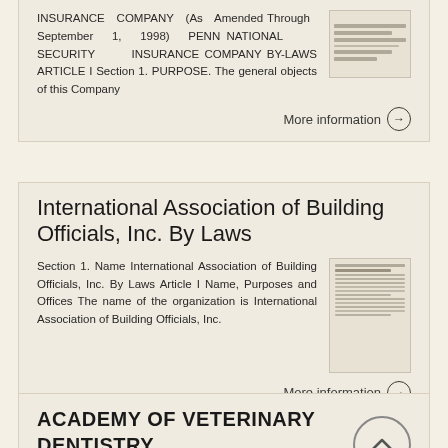INSURANCE COMPANY (As Amended Through September 1, 1998) PENN NATIONAL SECURITY INSURANCE COMPANY BY-LAWS ARTICLE I Section 1. PURPOSE. The general objects of this Company
More information →
International Association of Building Officials, Inc. By Laws
Section 1. Name International Association of Building Officials, Inc. By Laws Article I Name, Purposes and Offices The name of the organization is International Association of Building Officials, Inc.
More information →
ACADEMY OF VETERINARY DENTISTRY CONSTITUTION